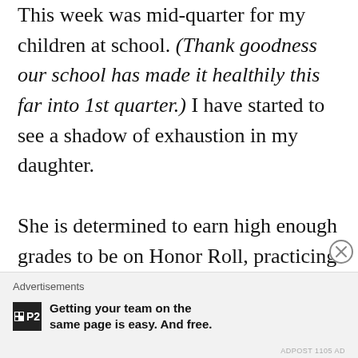This week was mid-quarter for my children at school. (Thank goodness our school has made it healthily this far into 1st quarter.) I have started to see a shadow of exhaustion in my daughter.

She is determined to earn high enough grades to be on Honor Roll, practicing 3 to 4 days a week with her competitive gymnastics team, still helping with home and farm chores, and be a normal 11-year
[Figure (other): Advertisement banner: P2 logo with text 'Getting your team on the same page is easy. And free.']